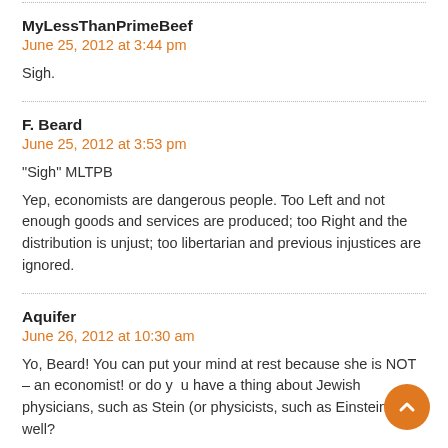MyLessThanPrimeBeef
June 25, 2012 at 3:44 pm
Sigh.
F. Beard
June 25, 2012 at 3:53 pm
“Sigh” MLTPB
Yep, economists are dangerous people. Too Left and not enough goods and services are produced; too Right and the distribution is unjust; too libertarian and previous injustices are ignored.
Aquifer
June 26, 2012 at 10:30 am
Yo, Beard! You can put your mind at rest because she is NOT – an economist! or do you have a thing about Jewish physicians, such as Stein (or physicists, such as Einstein), as well?